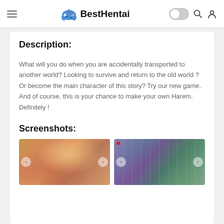BestHentai
Description:
What will you do when you are accidentally transported to another world? Looking to survive and return to the old world ? Or become the main character of this story? Try our new game. And of course, this is your chance to make your own Harem. Definitely !
Screenshots:
[Figure (illustration): Anime illustration screenshot 1 - warm toned scene]
[Figure (illustration): Anime illustration screenshot 2 - teal and purple toned scene with Japanese architecture]